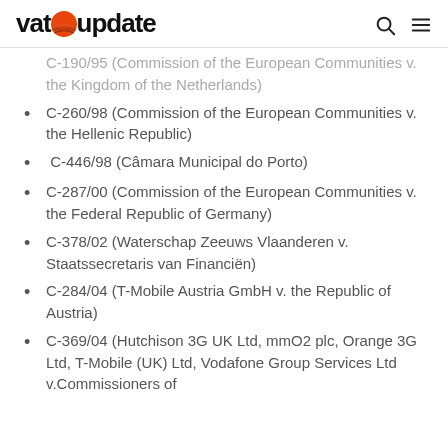vatupdate
C-190/95 (Commission of the European Communities v. the Kingdom of the Netherlands)
C-260/98 (Commission of the European Communities v. the Hellenic Republic)
C-446/98 (Câmara Municipal do Porto)
C-287/00 (Commission of the European Communities v. the Federal Republic of Germany)
C-378/02 (Waterschap Zeeuws Vlaanderen v. Staatssecretaris van Financiën)
C-284/04 (T-Mobile Austria GmbH v. the Republic of Austria)
C-369/04 (Hutchison 3G UK Ltd, mmO2 plc, Orange 3G Ltd, T-Mobile (UK) Ltd, Vodafone Group Services Ltd v.Commissioners of Customs and Excise)